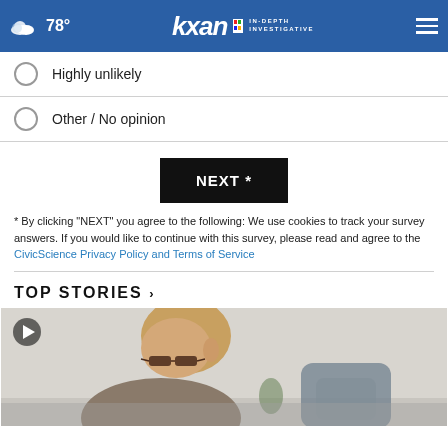78° kxan IN-DEPTH INVESTIGATIVE
Highly unlikely
Other / No opinion
NEXT *
* By clicking "NEXT" you agree to the following: We use cookies to track your survey answers. If you would like to continue with this survey, please read and agree to the CivicScience Privacy Policy and Terms of Service
TOP STORIES ›
[Figure (photo): Video thumbnail showing a person with glasses seated, with a play button overlay in the top left corner]